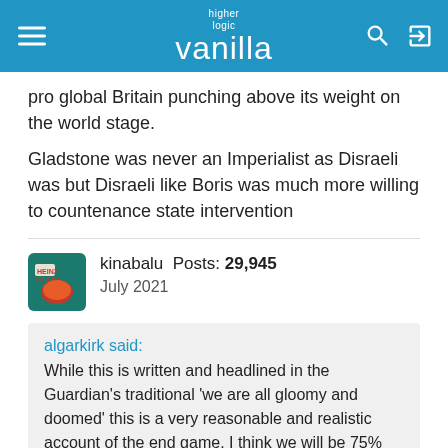higher logic vanilla
pro global Britain punching above its weight on the world stage.
Gladstone was never an Imperialist as Disraeli was but Disraeli like Boris was much more willing to countenance state intervention
kinabalu  Posts: 29,945  July 2021
algarkirk said: While this is written and headlined in the Guardian's traditional 'we are all gloomy and doomed' this is a very reasonable and realistic account of the end game. I think we will be 75% there at Christmas, and back to whatever will be